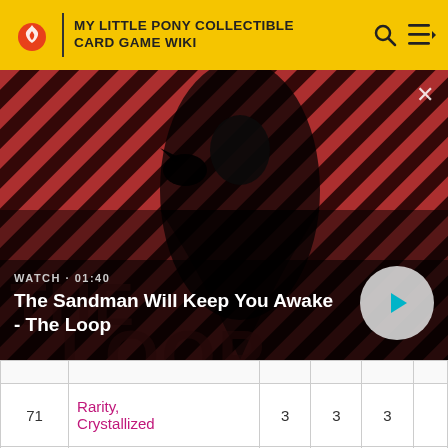MY LITTLE PONY COLLECTIBLE CARD GAME WIKI
[Figure (screenshot): Video thumbnail showing a dark-cloaked figure with a raven on shoulder against a red diagonal striped background. Text overlay: WATCH · 01:40, The Sandman Will Keep You Awake - The Loop. Play button visible.]
|  |  |  |  |  |  |
| --- | --- | --- | --- | --- | --- |
| 71 | Rarity, Crystallized | 3 | 3 | 3 |  |
| 72 | Rarity, Equestria Games | 2 | 2 | 3 |  |